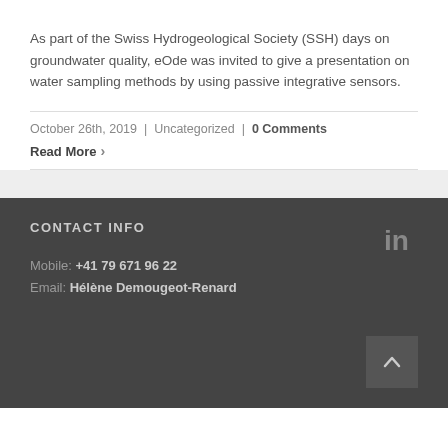As part of the Swiss Hydrogeological Society (SSH) days on groundwater quality, eOde was invited to give a presentation on water sampling methods by using passive integrative sensors.
October 26th, 2019  |  Uncategorized  |  0 Comments
Read More ›
CONTACT INFO
Mobile: +41 79 671 96 22
Email: Hélène Demougeot-Renard